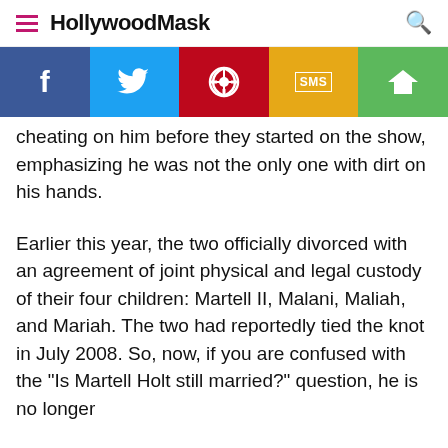HollywoodMask
[Figure (infographic): Social sharing bar with Facebook, Twitter, Pinterest, SMS, and Share buttons]
cheating on him before they started on the show, emphasizing he was not the only one with dirt on his hands.
Earlier this year, the two officially divorced with an agreement of joint physical and legal custody of their four children: Martell II, Malani, Maliah, and Mariah. The two had reportedly tied the knot in July 2008. So, now, if you are confused with the "Is Martell Holt still married?" question, he is no longer